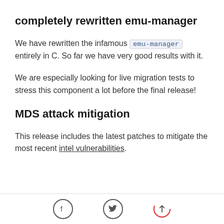completely rewritten emu-manager
We have rewritten the infamous emu-manager entirely in C. So far we have very good results with it.
We are especially looking for live migration tests to stress this component a lot before the final release!
MDS attack mitigation
This release includes the latest patches to mitigate the most recent intel vulnerabilities.
Facebook Twitter Scroll-to-top